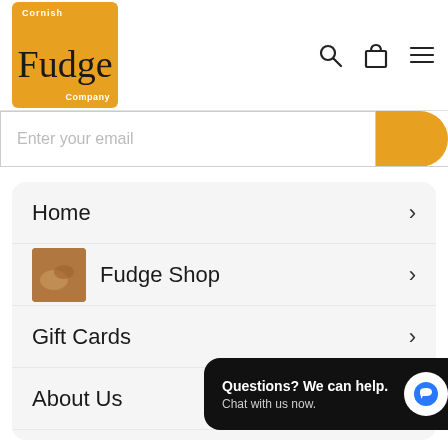[Figure (logo): Cornish Fudge Company logo: orange/golden square with white text 'Cornish' at top left, cursive 'Fudge' in dark letters, and 'Company' at bottom right in white]
[Figure (screenshot): Email input bar with placeholder text 'Enter your email' and an orange submit button on the right]
Home
Fudge Shop
Gift Cards
About Us
Contact Us
Questions? We can help. Chat with us now.